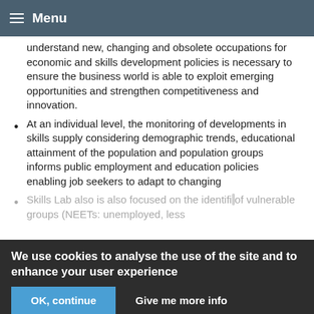Menu
understand new, changing and obsolete occupations for economic and skills development policies is necessary to ensure the business world is able to exploit emerging opportunities and strengthen competitiveness and innovation.
At an individual level, the monitoring of developments in skills supply considering demographic trends, educational attainment of the population and population groups informs public employment and education policies enabling job seekers to adapt to changing labour market requirements and...
Skills Lab also is also focused on the identification of vulnerable groups (NEETs: unemployed, less...
We use cookies to analyse the use of the site and to enhance your user experience
OK, continue | Give me more info